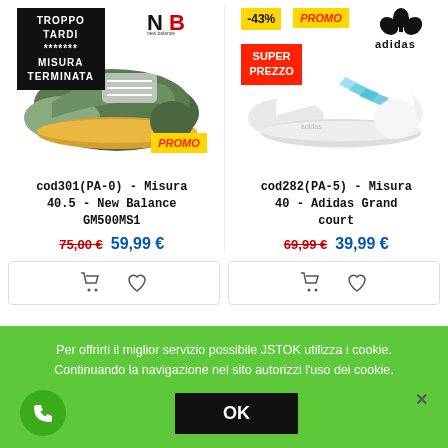[Figure (photo): Green and grey New Balance GM500MS1 sneaker with yellow sole. Overlaid with black badge 'TROPPO TARDI ******* MISURA TERMINATA', yellow PROMO label, and New Balance logo.]
cod301(PA-0) - Misura 40.5 - New Balance GM500MS1
75,00 €  59,99 €
[Figure (photo): White Adidas Grand Court sneaker with holographic blue stripes. Overlaid with -43% badge, yellow PROMO label, red SUPER PREZZO badge, and Adidas logo.]
cod282(PA-5) - Misura 40 - Adidas Grand court
69,99 €  39,99 €
Per offrirti il miglior servizio possibile JSTOK utilizza i cookie. Continuando la navigazione nel sito autorizzi l'uso dei cookie.